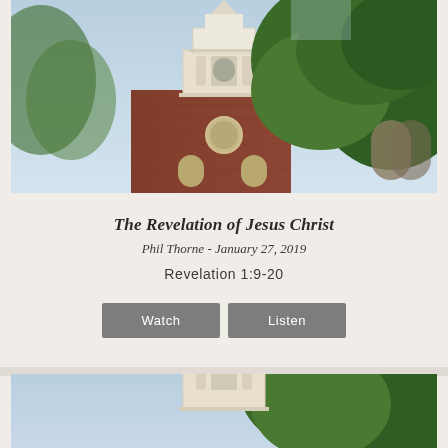[Figure (photo): Photograph of a historic red brick church with a white multi-tiered steeple, flanked by large green trees against a light blue sky.]
The Revelation of Jesus Christ
Phil Thorne - January 27, 2019
Revelation 1:9-20
[Figure (photo): Photograph of a white church steeple with green trees, similar to the top image, bottom portion of the page.]